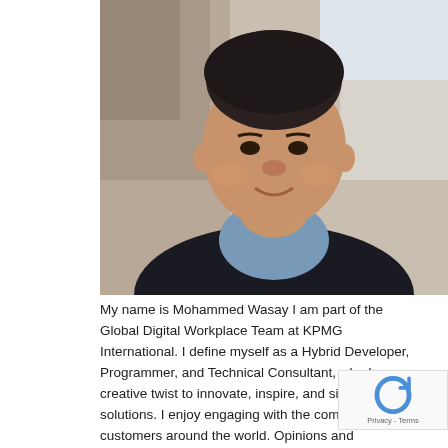[Figure (photo): Headshot photo of Mohammed Wasay, a man smiling at the camera outdoors with a blurred stone wall and building in the background. He is wearing a dark jacket over a plaid shirt.]
My name is Mohammed Wasay I am part of the Global Digital Workplace Team at KPMG International. I define myself as a Hybrid Developer, Programmer, and Technical Consultant, who has a creative twist to innovate, inspire, and simplify solutions. I enjoy engaging with the community and customers around the world. Opinions and suggestions are my own.